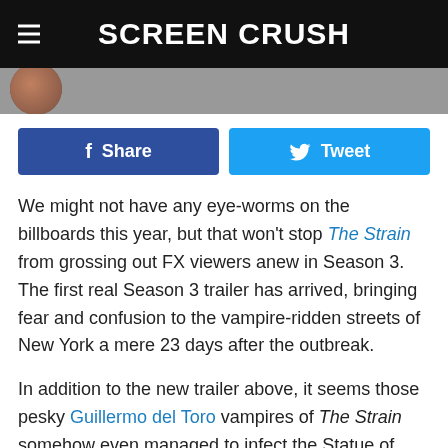Screen Crush
[Figure (other): Partial avatar/profile image strip below header]
Share  Tweet (social share buttons)
We might not have any eye-worms on the billboards this year, but that won't stop The Strain from grossing out FX viewers anew in Season 3. The first real Season 3 trailer has arrived, bringing fear and confusion to the vampire-ridden streets of New York a mere 23 days after the outbreak.
In addition to the new trailer above, it seems those pesky Guillermo del Toro vampires of The Strain somehow even managed to infect the Statue of Liberty for Season 3, turning Lady Liberty into a fully-animated being. Sad!